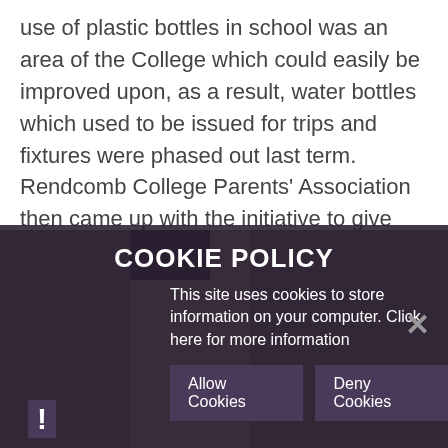use of plastic bottles in school was an area of the College which could easily be improved upon, as a result, water bottles which used to be issued for trips and fixtures were phased out last term. Rendcomb College Parents' Association then came up with the initiative to give every child at the school a reusable water bottle .
[Figure (photo): Partial view of a building or outdoor scene, partially obscured by a cookie consent overlay]
COOKIE POLICY
This site uses cookies to store information on your computer. Click here for more information
Allow Cookies   Deny Cookies